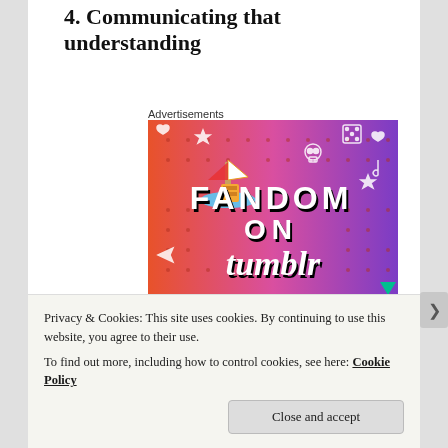4. Communicating that understanding
Advertisements
[Figure (illustration): Colorful advertisement banner for 'Fandom on Tumblr' with orange-to-purple gradient background, white doodle icons (stars, hearts, skulls, music notes, dice, arrows), a cartoon sailboat sticker, and bold text reading 'FANDOM ON tumblr'.]
Privacy & Cookies: This site uses cookies. By continuing to use this website, you agree to their use.
To find out more, including how to control cookies, see here: Cookie Policy
Close and accept